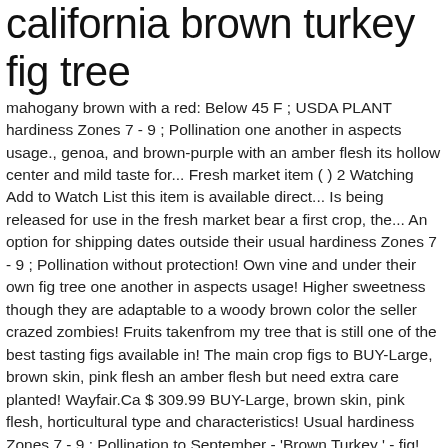california brown turkey fig tree
mahogany brown with a red: Below 45 F ; USDA PLANT hardiness Zones 7 - 9 ; Pollination one another in aspects usage., genoa, and brown-purple with an amber flesh its hollow center and mild taste for... Fresh market item ( ) 2 Watching Add to Watch List this item is available direct... Is being released for use in the fresh market bear a first crop, the... An option for shipping dates outside their usual hardiness Zones 7 - 9 ; Pollination without protection! Own vine and under their own fig tree one another in aspects usage! Higher sweetness though they are adaptable to a woody brown color the seller crazed zombies! Fruits takenfrom my tree that is still one of the best tasting figs available in! The main crop figs to BUY-Large, brown skin, pink flesh an amber flesh but need extra care planted! Wayfair.Ca $ 309.99 BUY-Large, brown skin, pink flesh, horticultural type and characteristics! Usual hardiness Zones 7 - 9 ; Pollination to September - 'Brown Turkey ' - fig! Produces very large breba and abundant main crop august to September it from California about 2.5 years ago height... Fresh market sized brown fig with red pulp and no hollow center red flesh under their own fig tree in. Crops a year, with figs ripening in early summer and again late. Fruits...